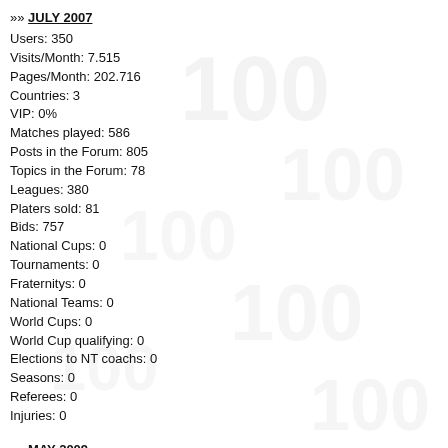»» JULY 2007
Users: 350
Visits/Month: 7.515
Pages/Month: 202.716
Countries: 3
VIP: 0%
Matches played: 586
Posts in the Forum: 805
Topics in the Forum: 78
Leagues: 380
Platers sold: 81
Bids: 757
National Cups: 0
Tournaments: 0
Fraternitys: 0
National Teams: 0
World Cups: 0
World Cup qualifying: 0
Elections to NT coachs: 0
Seasons: 0
Referees: 0
Injuries: 0
»» MAY 2009
Users: 4.300
Visits/Month: 159.541
Pages/Month: 9.982.435
Countries: 40
VIP: 4-6%
Matches played: 17.071
Posts in the Forum: 24.653
Topics in the Forum: 928
Leagues: 1.450
Players sold: 2.645